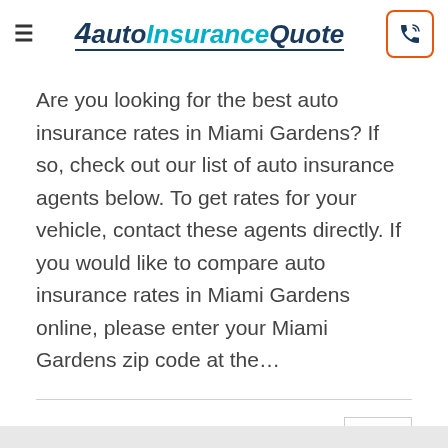[Figure (logo): AutoInsuranceQuote logo with hamburger menu and phone button]
Are you looking for the best auto insurance rates in Miami Gardens? If so, check out our list of auto insurance agents below. To get rates for your vehicle, contact these agents directly. If you would like to compare auto insurance rates in Miami Gardens online, please enter your Miami Gardens zip code at the…